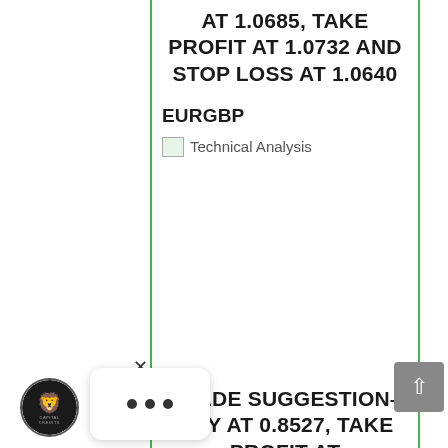AT 1.0685, TAKE PROFIT AT 1.0732 AND STOP LOSS AT 1.0640
EURGBP
[Figure (other): Broken image placeholder labeled 'Technical Analysis']
TRADE SUGGESTION– BUY AT 0.8527, TAKE PROFIT AT